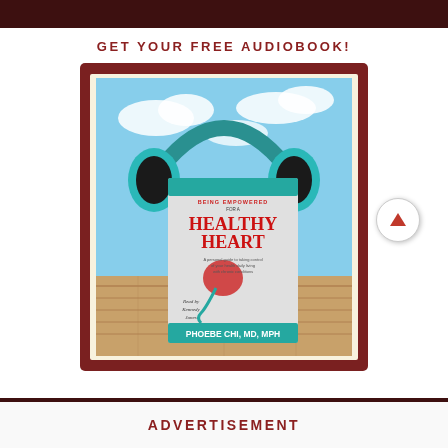GET YOUR FREE AUDIOBOOK!
[Figure (illustration): Audiobook cover for 'Being Empowered for a Healthy Heart' by Phoebe Chi, MD, MPH, shown as a box set with teal headphones over a blue sky background with wooden floor. Text on book reads: Being Empowered for a Healthy Heart - A personal guide to taking control of your health daily living with chronic conditions. Read by Kennedy Jones. Author: Phoebe Chi, MD, MPH.]
ADVERTISEMENT